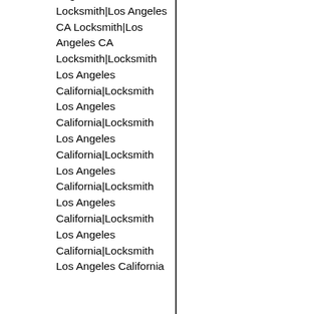Angeles CA Locksmith|Los Angeles CA Locksmith|Los Angeles CA Locksmith|Locksmith Los Angeles California|Locksmith Los Angeles California|Locksmith Los Angeles California|Locksmith Los Angeles California|Locksmith Los Angeles California|Locksmith Los Angeles California|Locksmith Los Angeles California